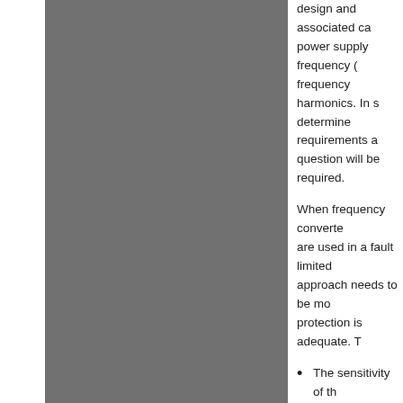[Figure (other): Gray rectangle occupying the left portion of the page]
design and associated ca power supply frequency ( frequency harmonics. In s determine requirements a question will be required.
When frequency converte are used in a fault limited approach needs to be mo protection is adequate. T
The sensitivity of th with frequency. In g exposure time, the 10kHz, the allowab frequency.
When EMC filters a fault currents that i (for example), stric (say the frequency flow when a fault o current limiting tim